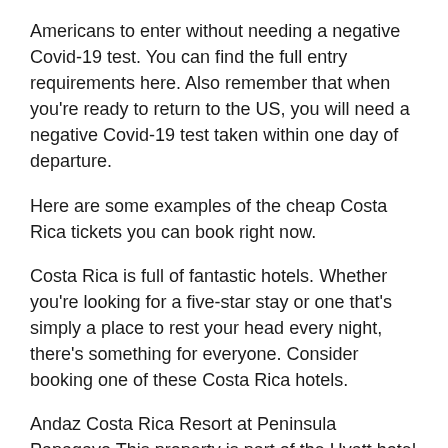Americans to enter without needing a negative Covid-19 test. You can find the full entry requirements here. Also remember that when you're ready to return to the US, you will need a negative Covid-19 test taken within one day of departure.
Here are some examples of the cheap Costa Rica tickets you can book right now.
Costa Rica is full of fantastic hotels. Whether you're looking for a five-star stay or one that's simply a place to rest your head every night, there's something for everyone. Consider booking one of these Costa Rica hotels.
Andaz Costa Rica Resort at Peninsula Papagayo This property is part of the Hyatt hotel chain, meaning you can redeem your World of Hyatt points for a free stay — and it's a great use of your points. At the hotel, you'll have breathtaking views of Culebra Bay, as well as a location just steps from a tropical rainforest. If you're interested in